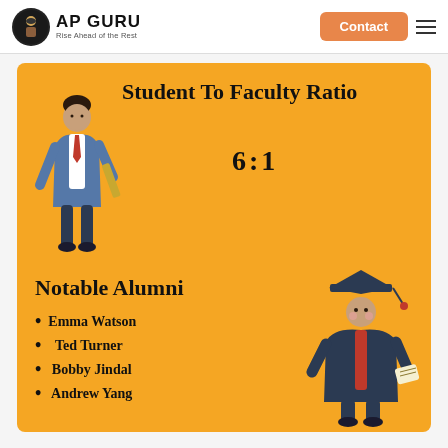AP GURU Rise Ahead of the Rest | Contact
[Figure (infographic): Infographic on orange/yellow background showing Student To Faculty Ratio of 6:1 with an illustration of a teacher, and Notable Alumni section listing Emma Watson, Ted Turner, Bobby Jindal, Andrew Yang with a graduation student illustration]
Student To Faculty Ratio
6:1
Notable Alumni
Emma Watson
Ted Turner
Bobby Jindal
Andrew Yang